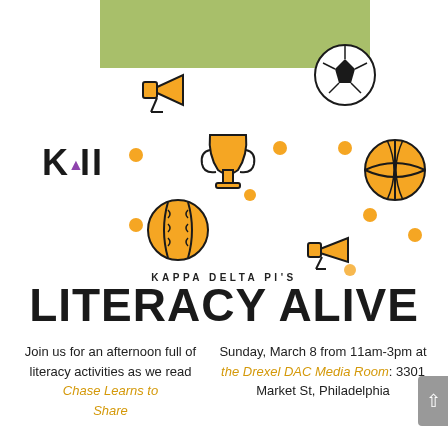[Figure (illustration): Green banner bar at top center with sports and activity icons (megaphone, soccer ball, trophy cup, basketball, baseball/softball, megaphone) scattered around a white background with orange dots. Kappa Delta Pi (KAI) logo on the left.]
KAPPA DELTA PI'S
LITERACY ALIVE
Join us for an afternoon full of literacy activities as we read Chase Learns to Share
Sunday, March 8 from 11am-3pm at the Drexel DAC Media Room: 3301 Market St, Philadelphia